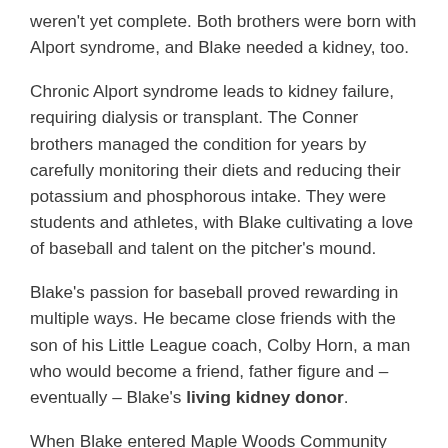weren't yet complete. Both brothers were born with Alport syndrome, and Blake needed a kidney, too.
Chronic Alport syndrome leads to kidney failure, requiring dialysis or transplant. The Conner brothers managed the condition for years by carefully monitoring their diets and reducing their potassium and phosphorous intake. They were students and athletes, with Blake cultivating a love of baseball and talent on the pitcher's mound.
Blake's passion for baseball proved rewarding in multiple ways. He became close friends with the son of his Little League coach, Colby Horn, a man who would become a friend, father figure and – eventually – Blake's living kidney donor.
When Blake entered Maple Woods Community College, his kidney function fell to 12%, considered stage 5